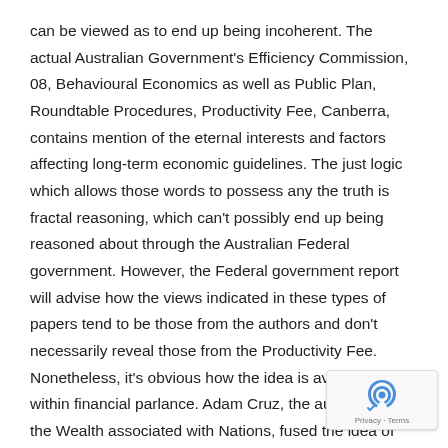can be viewed as to end up being incoherent. The actual Australian Government's Efficiency Commission, 08, Behavioural Economics as well as Public Plan, Roundtable Procedures, Productivity Fee, Canberra, contains mention of the eternal interests and factors affecting long-term economic guidelines. The just logic which allows those words to possess any the truth is fractal reasoning, which can't possibly end up being reasoned about through the Australian Federal government. However, the Federal government report will advise how the views indicated in these types of papers tend to be those from the authors and don't necessarily reveal those from the Productivity Fee. Nonetheless, it's obvious how the idea is available within financial parlance. Adam Cruz, the author from the Wealth associated with Nations, fused the idea of the everlasting nature associated with economic law right into a spiritual idea.